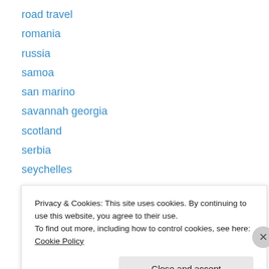road travel
romania
russia
samoa
san marino
savannah georgia
scotland
serbia
seychelles
sicily
singapore
ski vacations
slovakia
Privacy & Cookies: This site uses cookies. By continuing to use this website, you agree to their use. To find out more, including how to control cookies, see here: Cookie Policy
Close and accept